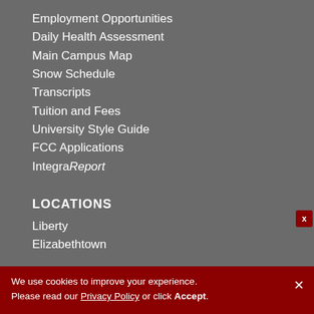Employment Opportunities
Daily Health Assessment
Main Campus Map
Snow Schedule
Transcripts
Tuition and Fees
University Style Guide
FCC Applications
IntegraReport
LOCATIONS
Liberty
Elizabethtown
[Figure (other): Chat with us button - dark red rounded rectangle with speech bubble icon]
We use cookies to improve your experience. Please read our Privacy Policy or click Accept.